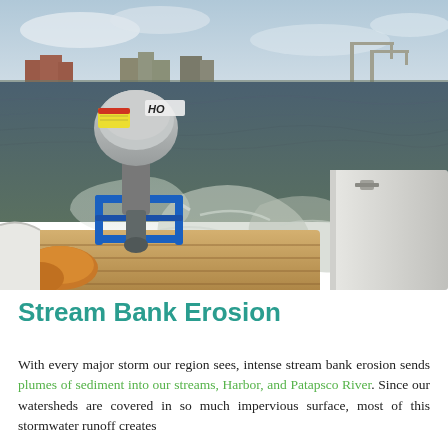[Figure (photo): View from rear of a small motorboat with a Honda outboard motor on choppy brown water, city skyline and industrial cranes visible in the distance under a cloudy sky.]
Stream Bank Erosion
With every major storm our region sees, intense stream bank erosion sends plumes of sediment into our streams, Harbor, and Patapsco River. Since our watersheds are covered in so much impervious surface, most of this stormwater runoff creates...